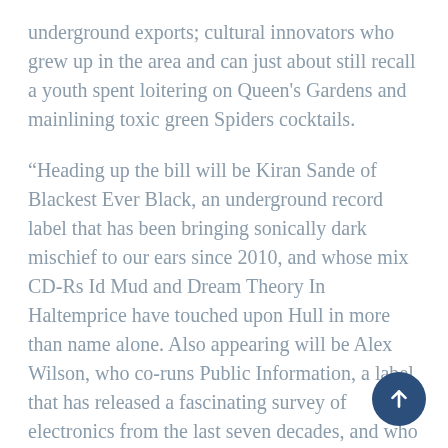underground exports; cultural innovators who grew up in the area and can just about still recall a youth spent loitering on Queen's Gardens and mainlining toxic green Spiders cocktails.
“Heading up the bill will be Kiran Sande of Blackest Ever Black, an underground record label that has been bringing sonically dark mischief to our ears since 2010, and whose mix CD-Rs Id Mud and Dream Theory In Haltemprice have touched upon Hull in more than name alone. Also appearing will be Alex Wilson, who co-runs Public Information, a label that has released a fascinating survey of electronics from the last seven decades, and who will also be presenting a paper entitled: Thee Fabulous Mutations: Film and Video in Yorkshire after COUM in Hull as part of a separate Hull 2017 event. They’ll be joined by the Quietus’ Sophie Coletta, who, after spending many teenage years staring longingly down the mouth of the Humber, fled and returned